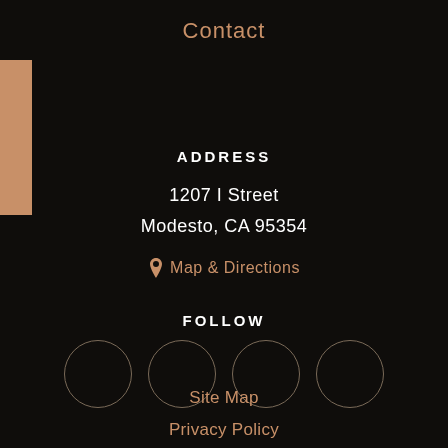Contact
ADDRESS
1207 I Street
Modesto, CA 95354
Map & Directions
FOLLOW
[Figure (illustration): Four circular social media icon placeholders with thin border outlines arranged in a row]
Site Map
Privacy Policy